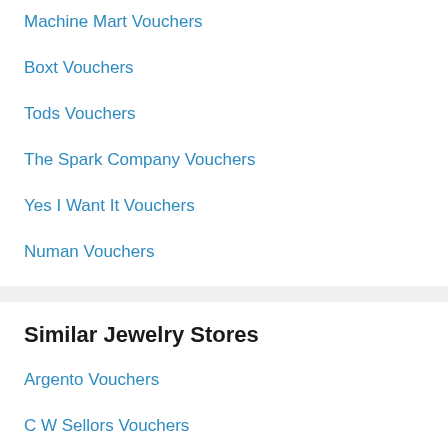Machine Mart Vouchers
Boxt Vouchers
Tods Vouchers
The Spark Company Vouchers
Yes I Want It Vouchers
Numan Vouchers
Similar Jewelry Stores
Argento Vouchers
C W Sellors Vouchers